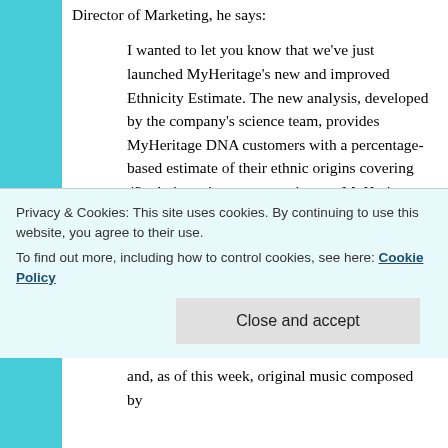Director of Marketing, he says:
I wanted to let you know that we've just launched MyHeritage's new and improved Ethnicity Estimate. The new analysis, developed by the company's science team, provides MyHeritage DNA customers with a percentage-based estimate of their ethnic origins covering 42 ethnic regions, many unique to MyHeritage.
In addition, the new Ethnicity Estimate will be provided for free to users who have already uploaded their DNA data to MyHeritage from other services, or who will upload it in the coming months.
Privacy & Cookies: This site uses cookies. By continuing to use this website, you agree to their use. To find out more, including how to control cookies, see here: Cookie Policy
and, as of this week, original music composed by